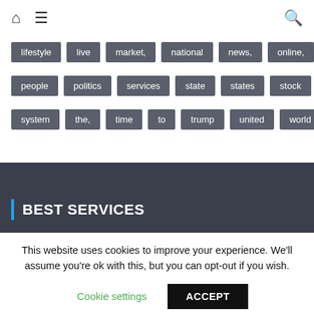Home | Menu | Search
lifestyle
live
market,
national
news,
online,
people
politics
services
state
states
stock
system
the,
time
to
trump
united
world
BEST SERVICES
This website uses cookies to improve your experience. We'll assume you're ok with this, but you can opt-out if you wish.
Cookie settings | ACCEPT